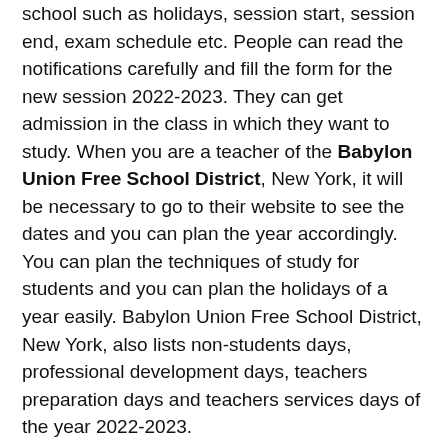school such as holidays, session start, session end, exam schedule etc. People can read the notifications carefully and fill the form for the new session 2022-2023. They can get admission in the class in which they want to study. When you are a teacher of the Babylon Union Free School District, New York, it will be necessary to go to their website to see the dates and you can plan the year accordingly. You can plan the techniques of study for students and you can plan the holidays of a year easily. Babylon Union Free School District, New York, also lists non-students days, professional development days, teachers preparation days and teachers services days of the year 2022-2023.
The Babylon Union Free School District, 2022-2023, occasion list is significant from the two understudies and instructors points of view. You can make things simpler for yourself in a single click. Whenever arranged well, school holidays of 2022-2023 can be an extraordinary chance to appreciate, unwind, cheer, commend, learn and gain